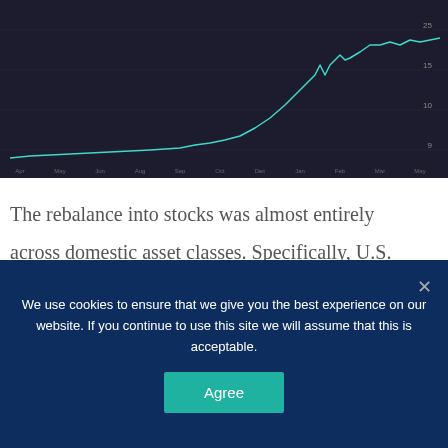[Figure (continuous-plot): Dark-background line chart showing a financial time series (likely stock or asset price growth), with a teal/cyan line that rises sharply toward the right side of the chart. X-axis shows time labels, y-axis shows numeric values.]
The rebalance into stocks was almost entirely across domestic asset classes. Specifically, U.S. growth assets and small and mid-sized positions were added at substantially lower valuations than just weeks ago. Small and mid-sized companies are
We use cookies to ensure that we give you the best experience on our website. If you continue to use this site we will assume that this is acceptable.